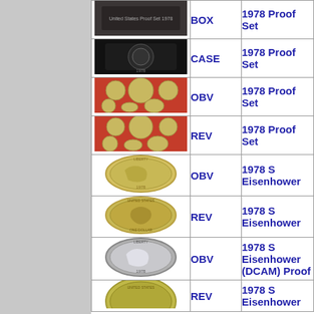| Image | Type | Description |
| --- | --- | --- |
| [coin box photo] | BOX | 1978 Proof Set |
| [coin case photo] | CASE | 1978 Proof Set |
| [proof set obverse photo] | OBV | 1978 Proof Set |
| [proof set reverse photo] | REV | 1978 Proof Set |
| [Eisenhower obverse photo] | OBV | 1978 S Eisenhower |
| [Eisenhower reverse photo] | REV | 1978 S Eisenhower |
| [Eisenhower DCAM obverse photo] | OBV | 1978 S Eisenhower (DCAM) Proof |
| [Eisenhower DCAM reverse photo] | REV | 1978 S Eisenhower |